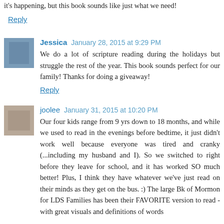it's happening, but this book sounds like just what we need!
Reply
Jessica  January 28, 2015 at 9:29 PM
We do a lot of scripture reading during the holidays but struggle the rest of the year. This book sounds perfect for our family! Thanks for doing a giveaway!
Reply
joolee  January 31, 2015 at 10:20 PM
Our four kids range from 9 yrs down to 18 months, and while we used to read in the evenings before bedtime, it just didn't work well because everyone was tired and cranky (...including my husband and I). So we switched to right before they leave for school, and it has worked SO much better! Plus, I think they have whatever we've just read on their minds as they get on the bus. :) The large Bk of Mormon for LDS Families has been their FAVORITE version to read - with great visuals and definitions of words